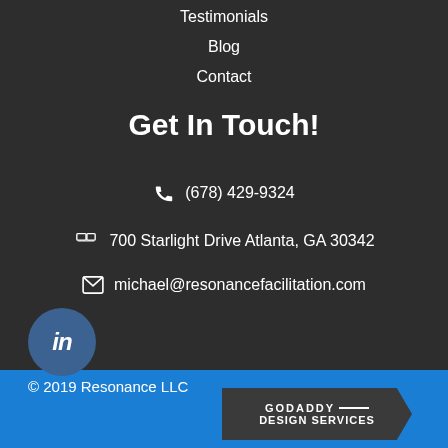Testimonials
Blog
Contact
Get In Touch!
(678) 429-9324
700 Starlight Drive Atlanta, GA 30342
michael@resonancefacilitation.com
[Figure (logo): LinkedIn circular icon]
© 2019 Resonance LLC
[Figure (logo): GoDaddy Design Services badge]